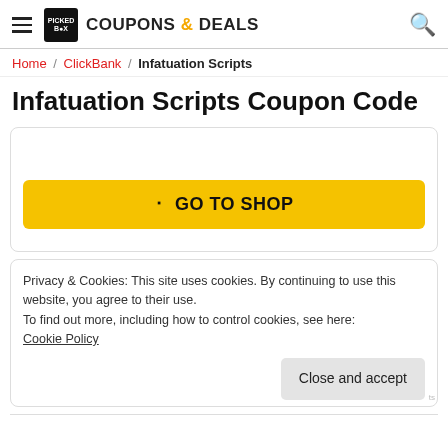PICKED BOX COUPONS & DEALS
Home / ClickBank / Infatuation Scripts
Infatuation Scripts Coupon Code
[Figure (other): Yellow GO TO SHOP button inside a bordered card]
Privacy & Cookies: This site uses cookies. By continuing to use this website, you agree to their use.
To find out more, including how to control cookies, see here:
Cookie Policy
Close and accept